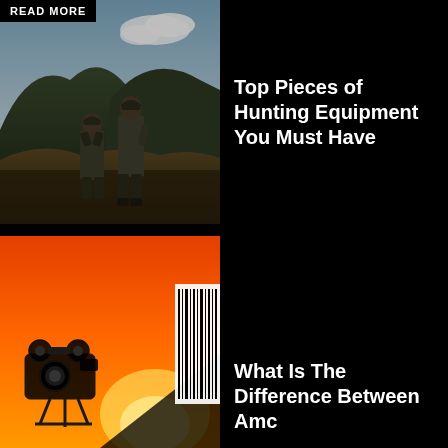[Figure (photo): Two hunters in camouflage gear standing on a hillside with mountains and sky in background. A READ MORE badge overlays top-left corner.]
Top Pieces of Hunting Equipment You Must Have
[Figure (illustration): Movie ticket illustration with orange gradient background, film camera icon, barcode, and dark triangular shapes suggesting a cinema theme.]
What Is The Difference Between Amc